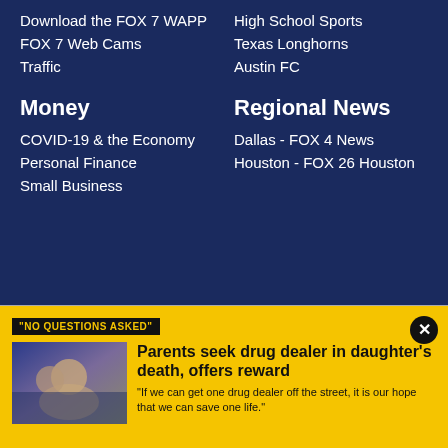Download the FOX 7 WAPP
FOX 7 Web Cams
Traffic
High School Sports
Texas Longhorns
Austin FC
Money
COVID-19 & the Economy
Personal Finance
Small Business
Regional News
Dallas - FOX 4 News
Houston - FOX 26 Houston
"NO QUESTIONS ASKED"
Parents seek drug dealer in daughter's death, offers reward
"If we can get one drug dealer off the street, it is our hope that we can save one life."